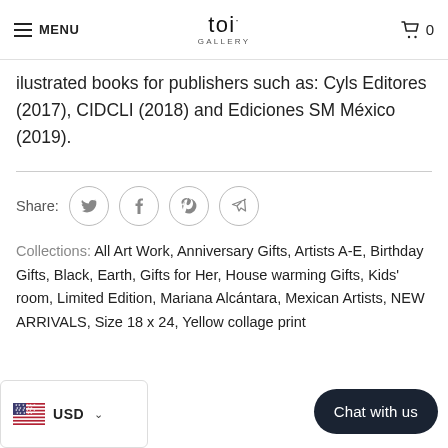MENU | toi GALLERY | 0
ilustrated books for publishers such as: Cyls Editores (2017), CIDCLI (2018) and Ediciones SM México (2019).
Share:
Collections: All Art Work, Anniversary Gifts, Artists A-E, Birthday Gifts, Black, Earth, Gifts for Her, House warming Gifts, Kids' room, Limited Edition, Mariana Alcántara, Mexican Artists, NEW ARRIVALS, Size 18 x 24, Yellow collage print